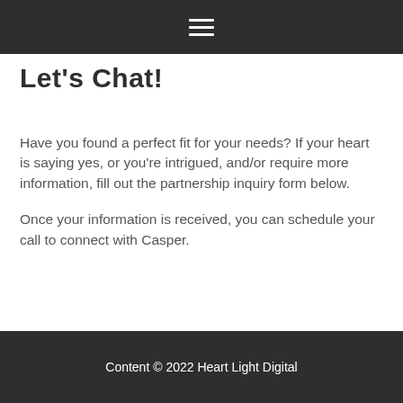☰
Let's Chat!
Have you found a perfect fit for your needs? If your heart is saying yes, or you're intrigued, and/or require more information, fill out the partnership inquiry form below.
Once your information is received, you can schedule your call to connect with Casper.
Content © 2022 Heart Light Digital